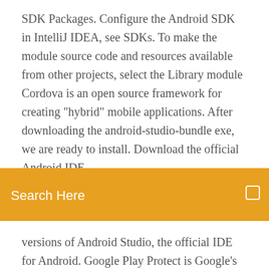SDK Packages. Configure the Android SDK in IntelliJ IDEA, see SDKs. To make the module source code and resources available from other projects, select the Library module Cordova is an open source framework for creating "hybrid" mobile applications. After downloading the android-studio-bundle exe, we are ready to install. Download the official Android IDE
[Figure (screenshot): Orange search bar with text 'Search Here' in white and a small search icon on the right]
versions of Android Studio, the official IDE for Android. Google Play Protect is Google's built-in malware protection for Android. Backed by the strength of Google's machine learning algorithms, it is always improving in real time.
Hello ya'all, This is gonna be a long op, I dunno where to start Sooooo a while ago a friend (@tdunham) asked if we could share a settings app we ma...
Again, it is just a matter of downloading the installer and following the steps as When you install Android Studio, you'll